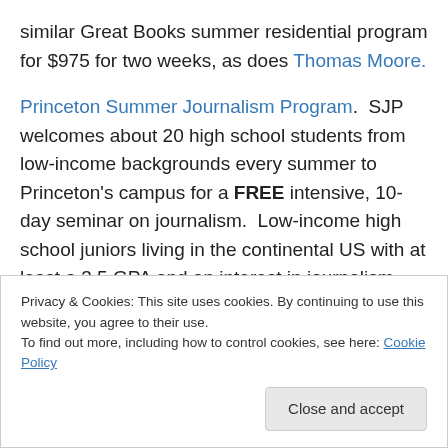similar Great Books summer residential program for $975 for two weeks, as does Thomas Moore.
Princeton Summer Journalism Program. SJP welcomes about 20 high school students from low-income backgrounds every summer to Princeton's campus for a FREE intensive, 10-day seminar on journalism. Low-income high school juniors living in the continental US with at least a 3.5 GPA and an interest in journalism. Travel is paid for as well.
TASP. A Telluride Association Summer Program (TASP) i...
Privacy & Cookies: This site uses cookies. By continuing to use this website, you agree to their use.
To find out more, including how to control cookies, see here: Cookie Policy